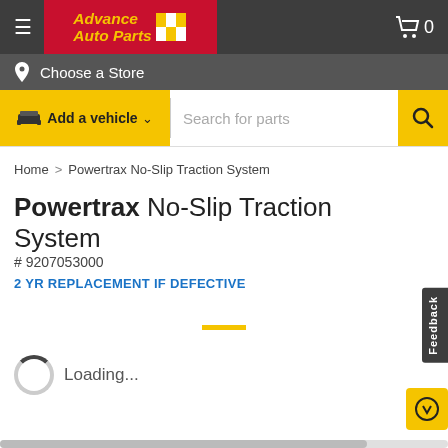Advance Auto Parts
Choose a Store
Add a vehicle ∨   Search for parts
Home > Powertrax No-Slip Traction System
Powertrax No-Slip Traction System
# 9207053000
2 YR REPLACEMENT IF DEFECTIVE
Loading...